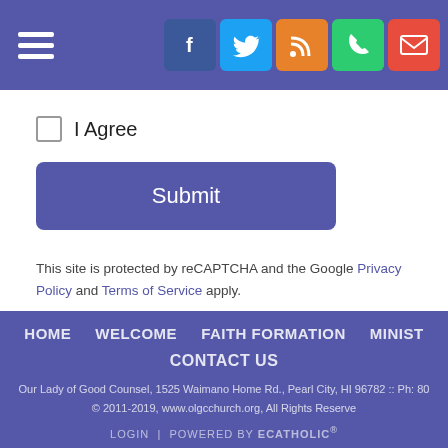Navigation header with hamburger menu and social icons (Facebook, Twitter, RSS, Phone, Email)
I Agree (checkbox)
Submit
This site is protected by reCAPTCHA and the Google Privacy Policy and Terms of Service apply.
HOME  WELCOME  FAITH FORMATION  MINIST  CONTACT US
Our Lady of Good Counsel, 1525 Waimano Home Rd., Pearl City, HI 96782 :: Ph: 80
© 2011-2019, www.olgcchurch.org, All Rights Reserve
LOGIN | POWERED BY ECATHOLIC®